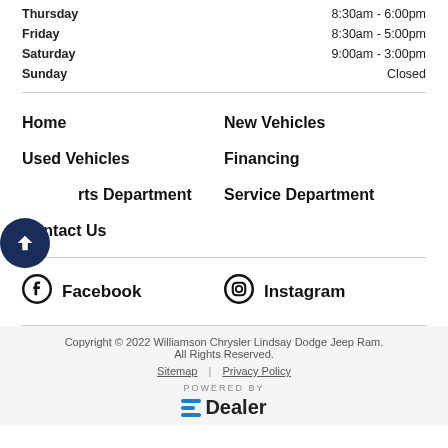Thursday  8:30am - 6:00pm
Friday  8:30am - 5:00pm
Saturday  9:00am - 3:00pm
Sunday  Closed
Home
New Vehicles
Used Vehicles
Financing
Parts Department
Service Department
Contact Us
Facebook
Instagram
Copyright © 2022 Williamson Chrysler Lindsay Dodge Jeep Ram. All Rights Reserved. Sitemap | Privacy Policy POWERED BY =Dealer